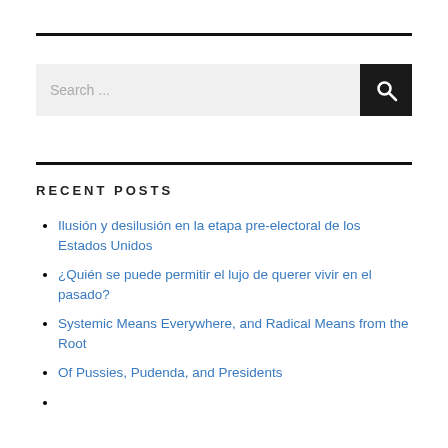[Figure (other): Search bar with text input field showing placeholder 'Search ...' and a dark search button with magnifying glass icon]
RECENT POSTS
Ilusión y desilusión en la etapa pre-electoral de los Estados Unidos
¿Quién se puede permitir el lujo de querer vivir en el pasado?
Systemic Means Everywhere, and Radical Means from the Root
Of Pussies, Pudenda, and Presidents
...